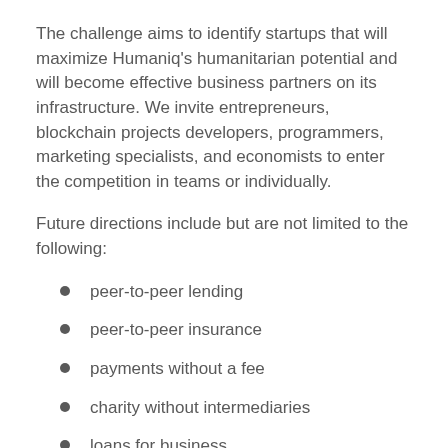The challenge aims to identify startups that will maximize Humaniq's humanitarian potential and will become effective business partners on its infrastructure. We invite entrepreneurs, blockchain projects developers, programmers, marketing specialists, and economists to enter the competition in teams or individually.
Future directions include but are not limited to the following:
peer-to-peer lending
peer-to-peer insurance
payments without a fee
charity without intermediaries
loans for business
remote use of human computing power by IT